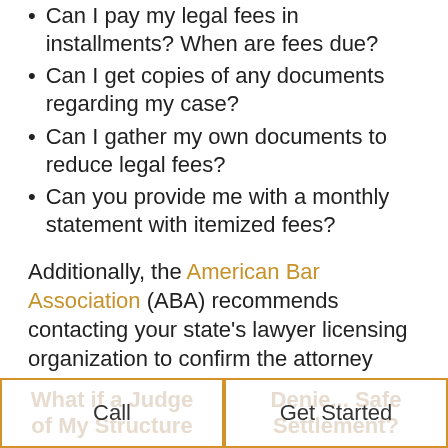Can I pay my legal fees in installments? When are fees due?
Can I get copies of any documents regarding my case?
Can I gather my own documents to reduce legal fees?
Can you provide me with a monthly statement with itemized fees?
Additionally, the American Bar Association (ABA) recommends contacting your state's lawyer licensing organization to confirm the attorney you're considering is properly licensed and has no complaints or grievances made against them.
Call
Get Started